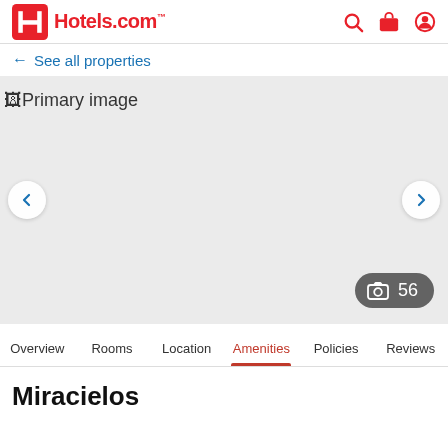Hotels.com
← See all properties
[Figure (photo): Primary hotel image placeholder with left/right navigation arrows and photo count button showing 56 photos]
Overview  Rooms  Location  Amenities  Policies  Reviews
Miracielos